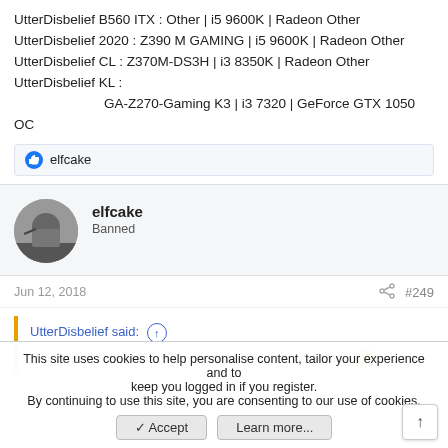UtterDisbelief B560 ITX : Other | i5 9600K | Radeon Other
UtterDisbelief 2020 : Z390 M GAMING | i5 9600K | Radeon Other
UtterDisbelief CL : Z370M-DS3H | i3 8350K | Radeon Other
UtterDisbelief KL :
    GA-Z270-Gaming K3 | i3 7320 | GeForce GTX 1050 OC
elfcake
elfcake
Banned
Jun 12, 2018   #249
UtterDisbelief said: ↑
Well, as @ashman70 says, I agree, no real difference 🙂
This site uses cookies to help personalise content, tailor your experience and to keep you logged in if you register.
By continuing to use this site, you are consenting to our use of cookies.
Accept   Learn more...